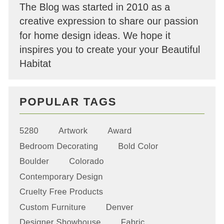The Blog was started in 2010 as a creative expression to share our passion for home design ideas. We hope it inspires you to create your your Beautiful Habitat
POPULAR TAGS
5280
Artwork
Award
Bedroom Decorating
Bold Color
Boulder
Colorado
Contemporary Design
Cruelty Free Products
Custom Furniture
Denver
Designer Showhouse
Fabric